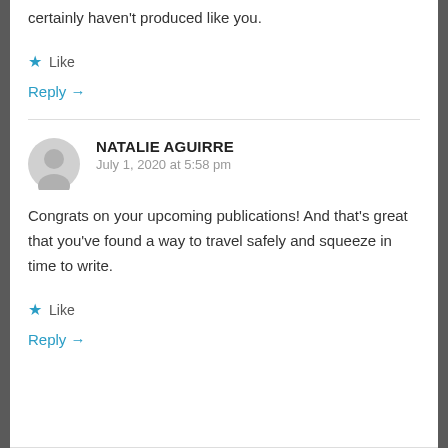certainly haven't produced like you.
★ Like
Reply →
NATALIE AGUIRRE
July 1, 2020 at 5:58 pm
Congrats on your upcoming publications! And that's great that you've found a way to travel safely and squeeze in time to write.
★ Like
Reply →